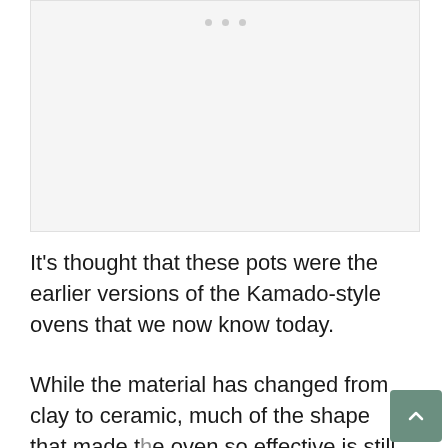[Figure (other): Image placeholder with three dots indicating a carousel or image slider, light gray background]
It’s thought that these pots were the earlier versions of the Kamado-style ovens that we now know today.
While the material has changed from clay to ceramic, much of the shape that made t… oven so effective is still in place and